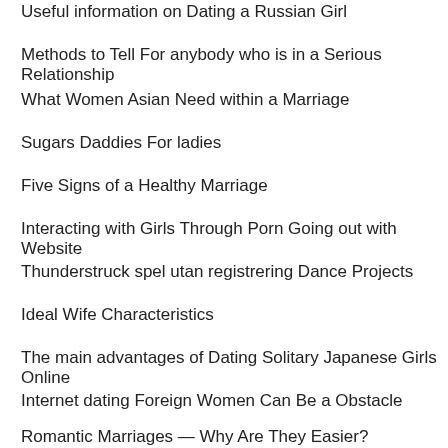Useful information on Dating a Russian Girl
Methods to Tell For anybody who is in a Serious Relationship
What Women Asian Need within a Marriage
Sugars Daddies For ladies
Five Signs of a Healthy Marriage
Interacting with Girls Through Porn Going out with Website
Thunderstruck spel utan registrering Dance Projects
Ideal Wife Characteristics
The main advantages of Dating Solitary Japanese Girls Online
Internet dating Foreign Women Can Be a Obstacle
Romantic Marriages — Why Are They Easier?